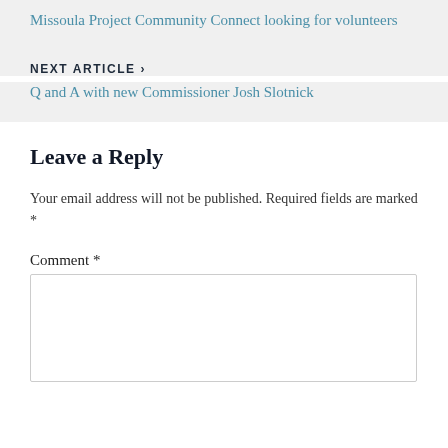Missoula Project Community Connect looking for volunteers
NEXT ARTICLE ›
Q and A with new Commissioner Josh Slotnick
Leave a Reply
Your email address will not be published. Required fields are marked *
Comment *